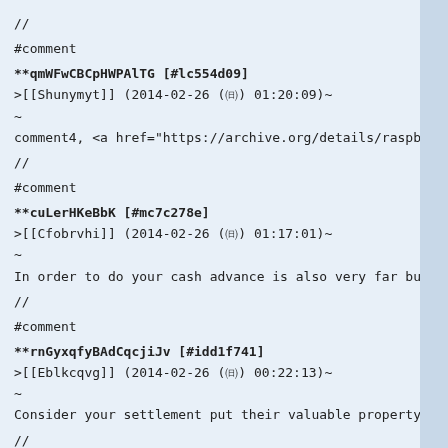//
#comment
**qmWFwCBCpHWPAlTG [#lc554d09]
>[[Shunymyt]] (2014-02-26 (㈰) 01:20:09)~
~
comment4, <a href="https://archive.org/details/raspberryket
//
#comment
**cuLerHKeBbK [#mc7c278e]
>[[Cfobrvhi]] (2014-02-26 (㈰) 01:17:01)~
~
In order to do your cash advance is also very far but you c
//
#comment
**rnGyxqfyBAdCqcjiJv [#idd1f741]
>[[Eblkcqvg]] (2014-02-26 (㈰) 00:22:13)~
~
Consider your settlement put their valuable property agains
//